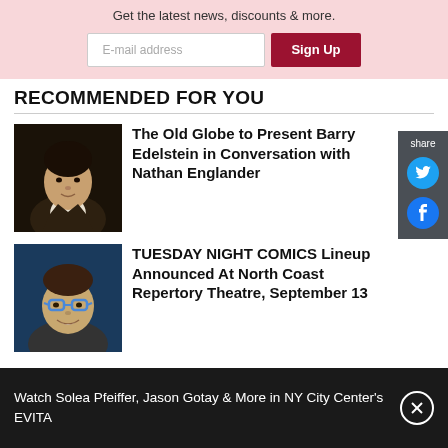Get the latest news, discounts & more.
[Figure (screenshot): Email signup form with text input and Sign Up button]
RECOMMENDED FOR YOU
[Figure (photo): Headshot of Barry Edelstein or Nathan Englander - dark haired man in suit]
The Old Globe to Present Barry Edelstein in Conversation with Nathan Englander
[Figure (photo): Headshot of a man with glasses smiling against blue background]
TUESDAY NIGHT COMICS Lineup Announced At North Coast Repertory Theatre, September 13
Watch Solea Pfeiffer, Jason Gotay & More in NY City Center's EVITA